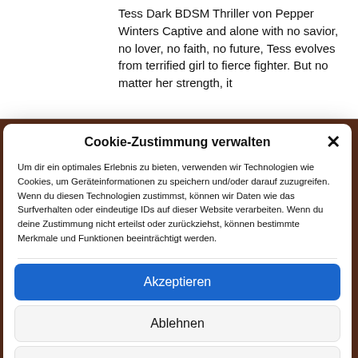Tess Dark BDSM Thriller von Pepper Winters Captive and alone with no savior, no lover, no faith, no future, Tess evolves from terrified girl to fierce fighter. But no matter her strength, it
Cookie-Zustimmung verwalten
Um dir ein optimales Erlebnis zu bieten, verwenden wir Technologien wie Cookies, um Geräteinformationen zu speichern und/oder darauf zuzugreifen. Wenn du diesen Technologien zustimmst, können wir Daten wie das Surfverhalten oder eindeutige IDs auf dieser Website verarbeiten. Wenn du deine Zustimmung nicht erteilst oder zurückziehst, können bestimmte Merkmale und Funktionen beeinträchtigt werden.
Akzeptieren
Ablehnen
Einstellungen ansehen
Cookie-Richtlinie  Datenschutzerklärung  Impressum